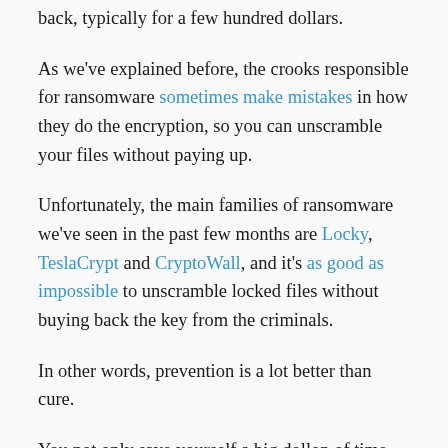back, typically for a few hundred dollars.
As we've explained before, the crooks responsible for ransomware sometimes make mistakes in how they do the encryption, so you can unscramble your files without paying up.
Unfortunately, the main families of ransomware we've seen in the past few months are Locky, TeslaCrypt and CryptoWall, and it's as good as impossible to unscramble locked files without buying back the key from the criminals.
In other words, prevention is a lot better than cure.
You not only save yourself a big dollop of time and money, but also avoid having to negotiate with the